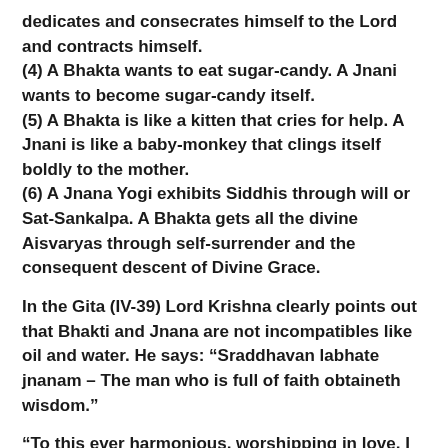dedicates and consecrates himself to the Lord and contracts himself.
(4) A Bhakta wants to eat sugar-candy. A Jnani wants to become sugar-candy itself.
(5) A Bhakta is like a kitten that cries for help. A Jnani is like a baby-monkey that clings itself boldly to the mother.
(6) A Jnana Yogi exhibits Siddhis through will or Sat-Sankalpa. A Bhakta gets all the divine Aisvaryas through self-surrender and the consequent descent of Divine Grace.
In the Gita (IV-39) Lord Krishna clearly points out that Bhakti and Jnana are not incompatibles like oil and water. He says: “Sraddhavan labhate jnanam – The man who is full of faith obtaineth wisdom.”
“To this ever harmonious, worshipping in love, I give the Yoga of discrimination by which they come unto